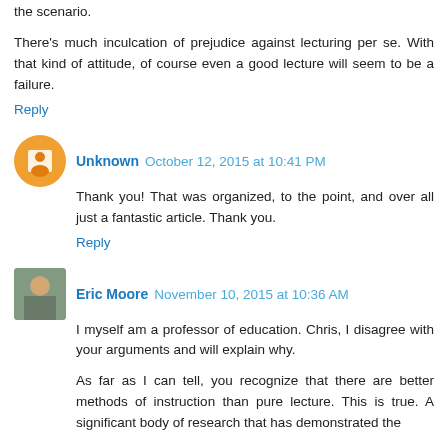the scenario.
There's much inculcation of prejudice against lecturing per se. With that kind of attitude, of course even a good lecture will seem to be a failure.
Reply
Unknown  October 12, 2015 at 10:41 PM
Thank you! That was organized, to the point, and over all just a fantastic article. Thank you.
Reply
Eric Moore  November 10, 2015 at 10:36 AM
I myself am a professor of education. Chris, I disagree with your arguments and will explain why.
As far as I can tell, you recognize that there are better methods of instruction than pure lecture. This is true. A significant body of research that has demonstrated the